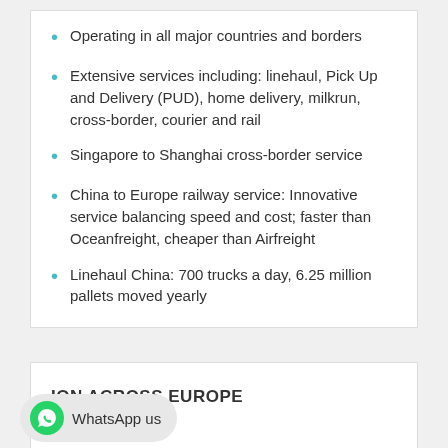Operating in all major countries and borders
Extensive services including: linehaul, Pick Up and Delivery (PUD), home delivery, milkrun, cross-border, courier and rail
Singapore to Shanghai cross-border service
China to Europe railway service: Innovative service balancing speed and cost; faster than Oceanfreight, cheaper than Airfreight
Linehaul China: 700 trucks a day, 6.25 million pallets moved yearly
ION ACROSS EUROPE